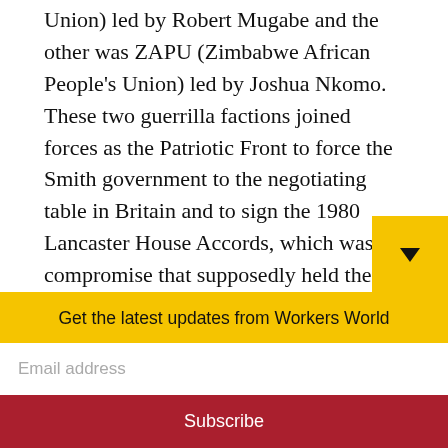Union) led by Robert Mugabe and the other was ZAPU (Zimbabwe African People's Union) led by Joshua Nkomo. These two guerrilla factions joined forces as the Patriotic Front to force the Smith government to the negotiating table in Britain and to sign the 1980 Lancaster House Accords, which was a compromise that supposedly held the British government accountable for financially compensating white farmers so that Black farmers could reclaim their lands.
Get the latest updates from Workers World
Email address
Subscribe